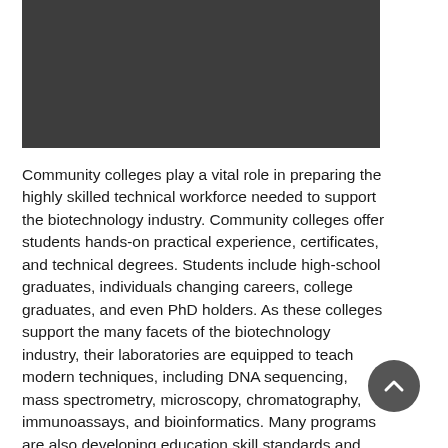[Figure (photo): Dark gray/charcoal rectangular image block at the top of the page]
Community colleges play a vital role in preparing the highly skilled technical workforce needed to support the biotechnology industry. Community colleges offer students hands-on practical experience, certificates, and technical degrees. Students include high-school graduates, individuals changing careers, college graduates, and even PhD holders. As these colleges support the many facets of the biotechnology industry, their laboratories are equipped to teach modern techniques, including DNA sequencing, mass spectrometry, microscopy, chromatography, immunoassays, and bioinformatics. Many programs are also developing education skill standards and curriculum to support the